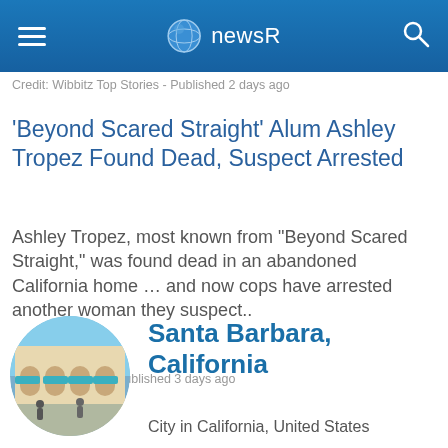newsR
Credit: Wibbitz Top Stories - Published 2 days ago
'Beyond Scared Straight' Alum Ashley Tropez Found Dead, Suspect Arrested
Ashley Tropez, most known from "Beyond Scared Straight," was found dead in an abandoned California home … and now cops have arrested another woman they suspect..
Credit: TMZ.com - Published 3 days ago
[Figure (photo): Circular photo of Santa Barbara street scene with Spanish colonial architecture and market area]
Santa Barbara, California
City in California, United States